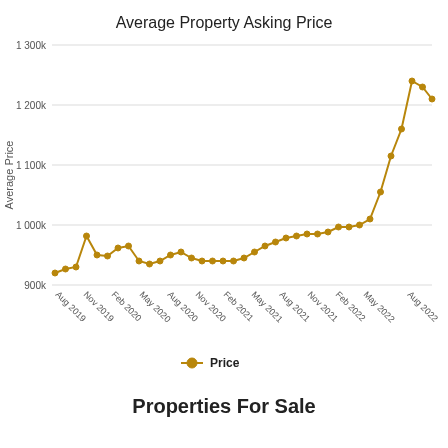[Figure (line-chart): Average Property Asking Price]
Properties For Sale